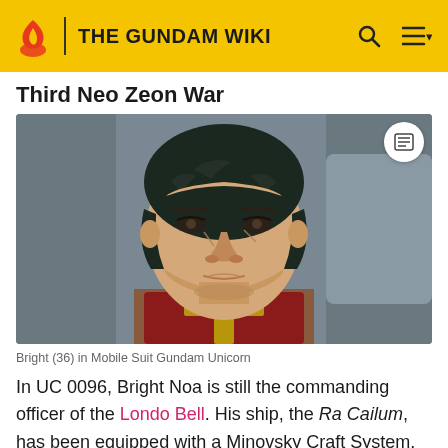THE GUNDAM WIKI
Third Neo Zeon War
[Figure (screenshot): Anime screenshot of Bright Noa (age 36) in Mobile Suit Gundam Unicorn, a male character with dark hair, scar on cheek, wearing a red and gold military uniform collar, against a grey background.]
Bright (36) in Mobile Suit Gundam Unicorn
In UC 0096, Bright Noa is still the commanding officer of the Londo Bell. His ship, the Ra Cailum, has been equipped with a Minovsky Craft System, enabling it to operate on